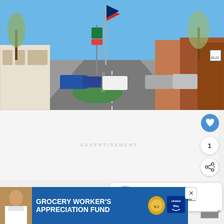[Figure (photo): Street-level Google Street View photo of a downtown area showing a wide road, parked cars, storefronts on the right, Spanish-style white arched building on the left, trees, flags on a tall pole, blue sky]
ADVERTISEMENT
[Figure (infographic): Heart (like/favorite) button - blue circle with white heart icon]
1
[Figure (infographic): Share button - white circle with share icon]
[Figure (infographic): What's Next card with thumbnail, label 'WHAT'S NEXT' with arrow, and title text 'Is El Cajon Safe? (Crim...']
[Figure (photo): Advertisement banner: GROCERY WORKER'S APPRECIATION FUND with Kendall Jackson wine and United Way logos, and a person image on left]